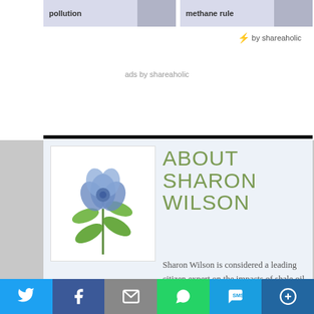pollution
methane rule
⚡ by shareaholic
ads by shareaholic
ABOUT SHARON WILSON
[Figure (photo): Photo of a blue flower with green leaves on a white background]
Sharon Wilson is considered a leading citizen expert on the impacts of shale oil and gas extraction. She is the go-to person whether it's top EPA officials from D.C.
[Figure (infographic): Social sharing bar with Twitter, Facebook, Email, WhatsApp, SMS, and More buttons]